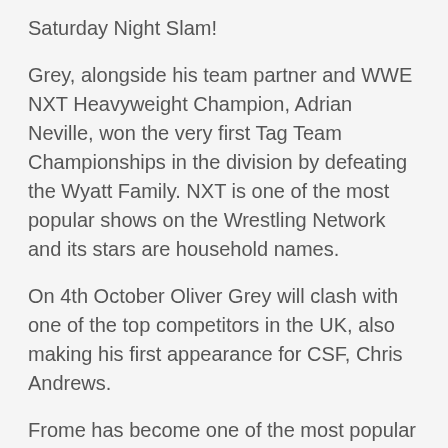Saturday Night Slam!
Grey, alongside his team partner and WWE NXT Heavyweight Champion, Adrian Neville, won the very first Tag Team Championships in the division by defeating the Wyatt Family. NXT is one of the most popular shows on the Wrestling Network and its stars are household names.
On 4th October Oliver Grey will clash with one of the top competitors in the UK, also making his first appearance for CSF, Chris Andrews.
Frome has become one of the most popular places to watch CSF Wrestling, attracting large audiences to each live event. Event management said, “We try to bring the top possible names to every event here. Back in May ‘The Masterpiece’ Chris Masters appeared at the Cheese and Grain and at the start of this year TNA Impact grappler